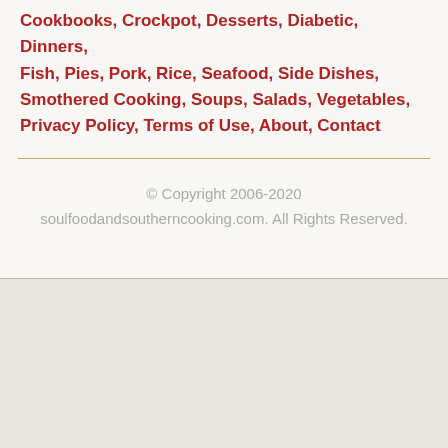Cookbooks, Crockpot, Desserts, Diabetic, Dinners, Fish, Pies, Pork, Rice, Seafood, Side Dishes, Smothered Cooking, Soups, Salads, Vegetables, Privacy Policy, Terms of Use, About, Contact
© Copyright 2006-2020 soulfoodandsoutherncooking.com. All Rights Reserved.